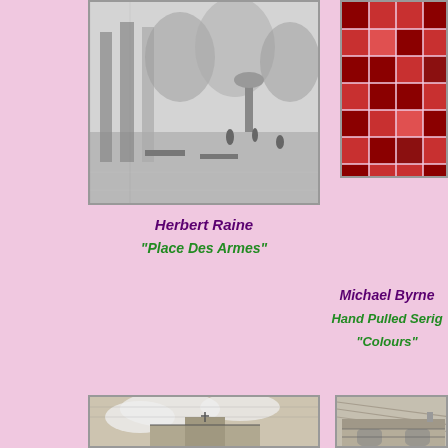[Figure (photo): Black and white photograph of a public plaza or square with columns, trees, benches, and figures in the background – Herbert Raine 'Place Des Armes']
[Figure (illustration): Colorful serigraph with a grid-like abstract pattern in shades of red, dark red, and pink squares – Michael Byrne Hand Pulled Serigraph 'Colours']
Herbert Raine
"Place Des Armes"
Michael Byrne
Hand Pulled Serig...
"Colours"
[Figure (illustration): Black and white etching/sketch of a building with dramatic cloudy sky]
[Figure (illustration): Black and white etching/sketch of a large institutional building with arched windows]